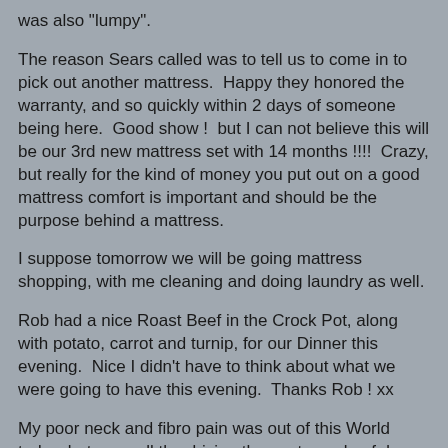was also "lumpy".
The reason Sears called was to tell us to come in to pick out another mattress.  Happy they honored the warranty, and so quickly within 2 days of someone being here.  Good show !  but I can not believe this will be our 3rd new mattress set with 14 months !!!!  Crazy, but really for the kind of money you put out on a good mattress comfort is important and should be the purpose behind a mattress.
I suppose tomorrow we will be going mattress shopping, with me cleaning and doing laundry as well.
Rob had a nice Roast Beef in the Crock Pot, along with potato, carrot and turnip, for our Dinner this evening.  Nice I didn't have to think about what we were going to have this evening.  Thanks Rob ! xx
My poor neck and fibro pain was out of this World today, between all the driving the past couple of days.  I hot shower late this afternoon helped somewhat, and hopefully a good night's rest ahead of me.  Just North of Wiarton & South of